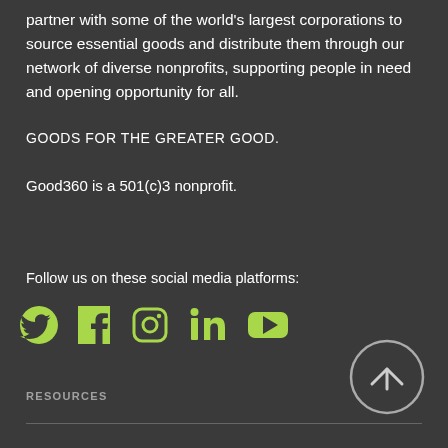partner with some of the world's largest corporations to source essential goods and distribute them through our network of diverse nonprofits, supporting people in need and opening opportunity for all.
GOODS FOR THE GREATER GOOD.
Good360 is a 501(c)3 nonprofit.
Follow us on these social media platforms:
[Figure (infographic): Social media icons for Twitter, Facebook, Instagram, LinkedIn, and YouTube in lime green]
[Figure (infographic): Circular up-arrow button in the bottom right]
RESOURCES